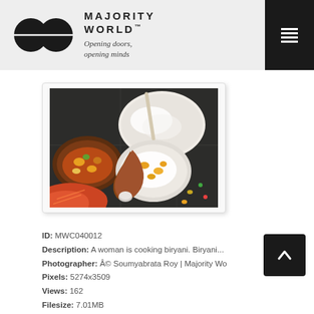MAJORITY WORLD™ — Opening doors, opening minds
[Figure (photo): Overhead view of a woman cooking biryani, with bowls of rice and curry visible on a stone floor surface.]
ID: MWC040012
Description: A woman is cooking biryani. Biryani...
Photographer: © Soumyabrata Roy | Majority Wo
Pixels: 5274x3509
Views: 162
Filesize: 7.01MB